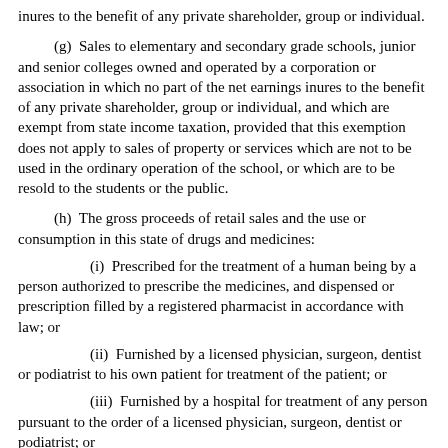inures to the benefit of any private shareholder, group or individual.
(g)  Sales to elementary and secondary grade schools, junior and senior colleges owned and operated by a corporation or association in which no part of the net earnings inures to the benefit of any private shareholder, group or individual, and which are exempt from state income taxation, provided that this exemption does not apply to sales of property or services which are not to be used in the ordinary operation of the school, or which are to be resold to the students or the public.
(h)  The gross proceeds of retail sales and the use or consumption in this state of drugs and medicines:
(i)  Prescribed for the treatment of a human being by a person authorized to prescribe the medicines, and dispensed or prescription filled by a registered pharmacist in accordance with law; or
(ii)  Furnished by a licensed physician, surgeon, dentist or podiatrist to his own patient for treatment of the patient; or
(iii)  Furnished by a hospital for treatment of any person pursuant to the order of a licensed physician, surgeon, dentist or podiatrist; or